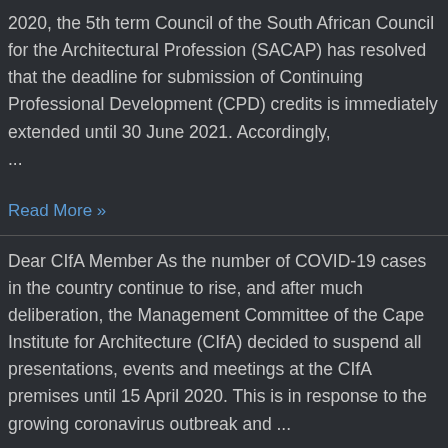2020, the 5th term Council of the South African Council for the Architectural Profession (SACAP) has resolved that the deadline for submission of Continuing Professional Development (CPD) credits is immediately extended until 30 June 2021. Accordingly, ...
Read More »
Dear CIfA Member As the number of COVID-19 cases in the country continue to rise, and after much deliberation, the Management Committee of the Cape Institute for Architecture (CIfA) decided to suspend all presentations, events and meetings at the CIfA premises until 15 April 2020. This is in response to the growing coronavirus outbreak and ...